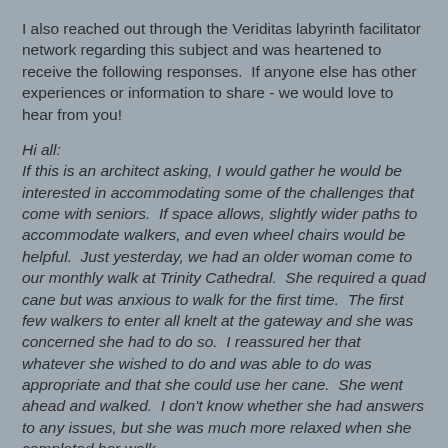I also reached out through the Veriditas labyrinth facilitator network regarding this subject and was heartened to receive the following responses.  If anyone else has other experiences or information to share - we would love to hear from you!
Hi all:
If this is an architect asking, I would gather he would be interested in accommodating some of the challenges that come with seniors.  If space allows, slightly wider paths to accommodate walkers, and even wheel chairs would be helpful.  Just yesterday, we had an older woman come to our monthly walk at Trinity Cathedral.  She required a quad cane but was anxious to walk for the first time.  The first few walkers to enter all knelt at the gateway and she was concerned she had to do so.  I reassured her that whatever she wished to do and was able to do was appropriate and that she could use her cane.  She went ahead and walked.  I don't know whether she had answers to any issues, but she was much more relaxed when she completed her walk.
Phylli...